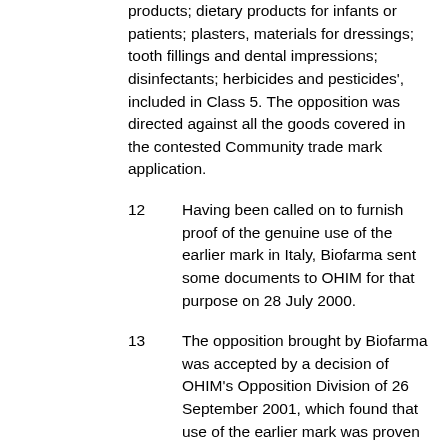products; dietary products for infants or patients; plasters, materials for dressings; tooth fillings and dental impressions; disinfectants; herbicides and pesticides', included in Class 5. The opposition was directed against all the goods covered in the contested Community trade mark application.
12      Having been called on to furnish proof of the genuine use of the earlier mark in Italy, Biofarma sent some documents to OHIM for that purpose on 28 July 2000.
13      The opposition brought by Biofarma was accepted by a decision of OHIM's Opposition Division of 26 September 2001, which found that use of the earlier mark was proven in respect of a specific pharmaceutical product, namely a 'peripheral vasodilator intended to treat peripheral and cerebral vascular disturbance and vascular disorders of the eye and ear'. Consequently, that opposition division refused the registration of the word sign 'TRAVATAN' as a Community trade mark on the ground that there was a likelihood of confusion, including the likelihood of association